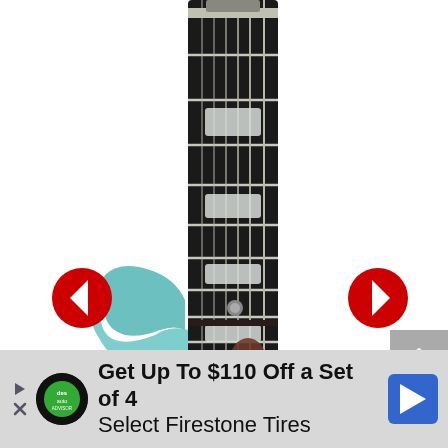[Figure (photo): Close-up photo of an electric guitar neck/fretboard (dark ebony wood with rectangular inlays) and upper body in light blue/cyan color, photographed against white background]
[Figure (other): Red circle left navigation arrow (previous) button]
[Figure (other): Red circle right navigation arrow (next) button]
[Figure (other): Gray scroll-to-top button with upward caret symbol]
[Figure (other): Black circle X close button]
Get Up To $110 Off a Set of 4 Select Firestone Tires